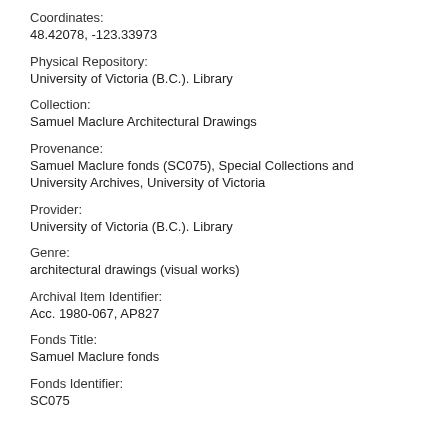Coordinates:
48.42078, -123.33973
Physical Repository:
University of Victoria (B.C.). Library
Collection:
Samuel Maclure Architectural Drawings
Provenance:
Samuel Maclure fonds (SC075), Special Collections and University Archives, University of Victoria
Provider:
University of Victoria (B.C.). Library
Genre:
architectural drawings (visual works)
Archival Item Identifier:
Acc. 1980-067, AP827
Fonds Title:
Samuel Maclure fonds
Fonds Identifier:
SC075